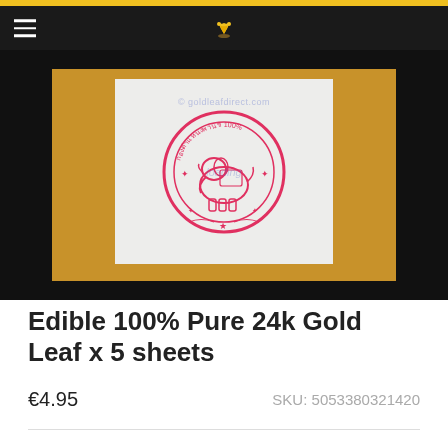[Figure (photo): Product photo showing a white booklet/card with a pink circular Thai elephant stamp seal on a yellow/orange background, set against a dark background. Watermark text 'goldleafdirect.com' and 'loading' overlay visible.]
Edible 100% Pure 24k Gold Leaf x 5 sheets
€4.95    SKU: 5053380321420